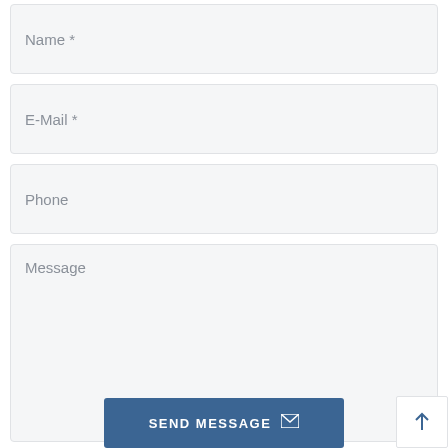Name *
E-Mail *
Phone
Message
SEND MESSAGE